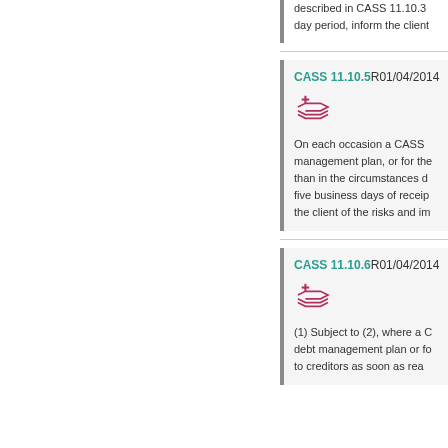described in CASS 11.10.3 day period, inform the client
CASS 11.10.5 R01/04/2014
[Figure (illustration): Stack/layers icon with plus symbol in dark red/crimson color]
On each occasion a CASS management plan, or for the than in the circumstances d five business days of receip the client of the risks and im
CASS 11.10.6 R01/04/2014
[Figure (illustration): Stack/layers icon with plus symbol in dark red/crimson color]
(1) Subject to (2), where a C debt management plan or fo to creditors as soon as rea